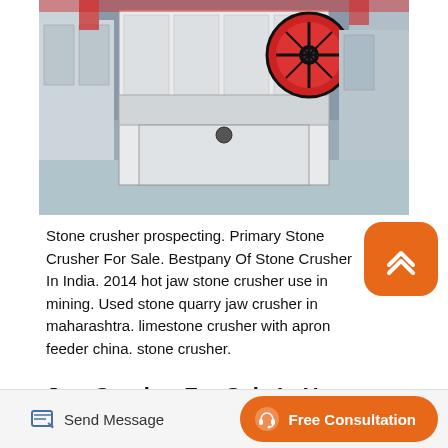[Figure (photo): Industrial jaw stone crusher machine in a factory setting, white body with red flywheel, multiple units visible on factory floor]
Stone crusher prospecting. Primary Stone Crusher For Sale. Bestpany Of Stone Crusher In India. 2014 hot jaw stone crusher use in mining. Used stone quarry jaw crusher in maharashtra. limestone crusher with apron feeder china. stone crusher.
Jaw Crusher For Sale In Us